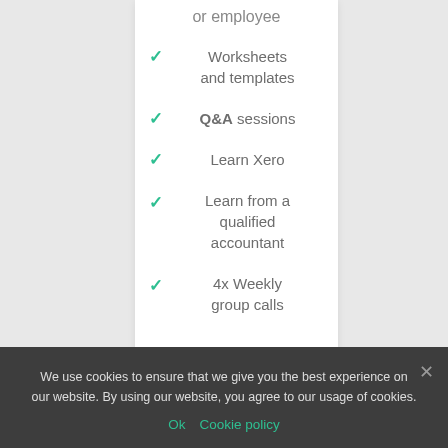or employee
Worksheets and templates
Q&A sessions
Learn Xero
Learn from a qualified accountant
4x Weekly group calls
SIGN UP
We use cookies to ensure that we give you the best experience on our website. By using our website, you agree to our usage of cookies.
Ok  Cookie policy